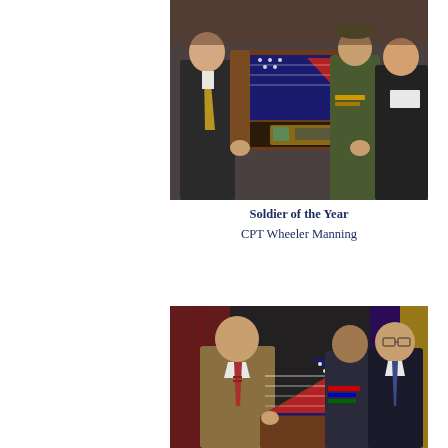[Figure (photo): Group of men in formal and military attire holding a framed American flag display case with a plaque at an awards ceremony.]
Soldier of the Year
CPT Wheeler Manning
[Figure (photo): Three men standing together at an awards ceremony, one in military uniform, holding a framed triangular American flag display case.]